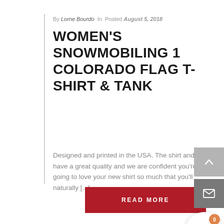By Lorne Bourdo In Posted August 5, 2018
WOMEN'S SNOWMOBILING 1 COLORADO FLAG T-SHIRT & TANK
Designed and printed in the USA. The shirt and print have a great quality and we are confident you're going to love your new shirt so much that you'll naturally [...]
READ MORE